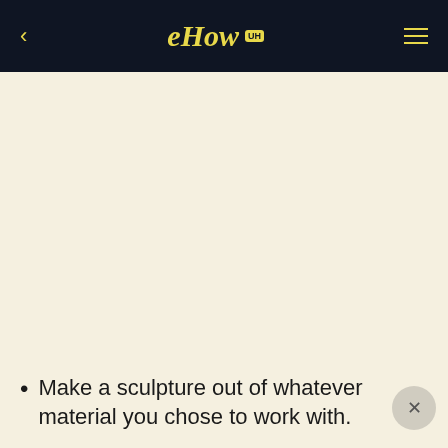eHow UH
Make a sculpture out of whatever material you chose to work with.